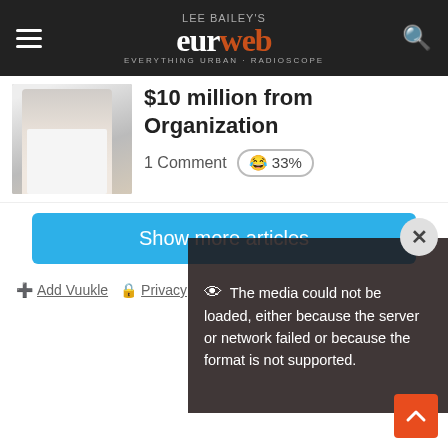Lee Bailey's eurweb — Everything Urban + Radioscope
$10 million from Organization
1 Comment 😂 33%
Show more articles
Add Vuukle  Privacy
[Figure (screenshot): Video player overlay showing error message: The media could not be loaded, either because the server or network failed or because the format is not supported.]